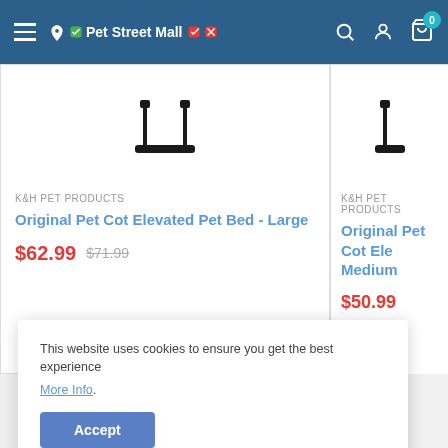Pet Street Mall — navigation bar with hamburger menu, search, account, and cart icons
K&H PET PRODUCTS
Original Pet Cot Elevated Pet Bed - Large
$62.99   $71.99
K&H PET PRODUCTS
Original Pet Cot Elevated Pet Bed - Medium
$50.99   $58.99
This website uses cookies to ensure you get the best experience More Info. Accept
Guaranteed Fast Shipping